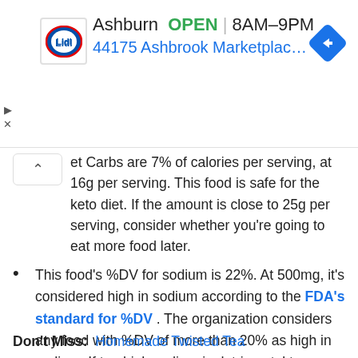[Figure (screenshot): Lidl store ad banner showing Ashburn location, OPEN 8AM-9PM, address 44175 Ashbrook Marketplace Pl..., with Lidl logo and navigation arrow icon]
et Carbs are 7% of calories per serving, at 16g per serving. This food is safe for the keto diet. If the amount is close to 25g per serving, consider whether you're going to eat more food later.
This food's %DV for sodium is 22%. At 500mg, it's considered high in sodium according to the FDA's standard for %DV. The organization considers any food with %DV of more than 20% as high in sodium. If too high sodium is detrimental to your health, this meal may negatively impact your health goals. 2300mg is the daily maximum sodium amount recommended by the FDA.
Don't Miss: Homemade Twisted Tea